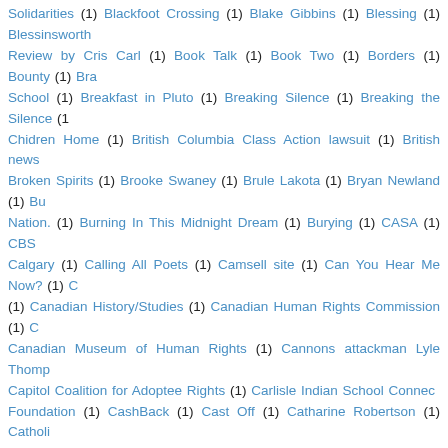Solidarities (1) Blackfoot Crossing (1) Blake Gibbins (1) Blessing (1) Blessinsworth Review by Cris Carl (1) Book Talk (1) Book Two (1) Borders (1) Bounty (1) Bra School (1) Breakfast in Pluto (1) Breaking Silence (1) Breaking the Silence (1) Chidren Home (1) British Columbia Class Action lawsuit (1) British news Broken Spirits (1) Brooke Swaney (1) Brule Lakota (1) Bryan Newland (1) Bu Nation. (1) Burning In This Midnight Dream (1) Burying (1) CASA (1) CBS Calgary (1) Calling All Poets (1) Camsell site (1) Can You Hear Me Now? (1) (1) Canadian History/Studies (1) Canadian Human Rights Commission (1) C Canadian Museum of Human Rights (1) Cannons attackman Lyle Thomp Capitol Coalition for Adoptee Rights (1) Carlisle Indian School Connec Foundation (1) CashBack (1) Cast Off (1) Catharine Robertson (1) Catholi Cecelia Reekie (1) Cecily Hilleary (1) Celeste Billhartz (1) Census (1) Challer Children (1) Change.org petition (1) Chanie Wenjack (1) Charles Camsell I School (1) Cheyenne River Sioux (1) Chickasaw (1) Chief Adam Dick (1) C Children of the Dragonfly (1) Children's Village of foster homes (1) Chile (1) Chinook (1) Chloe Zhao (1) Choctaw (1) Chris (1) Chris Benjamin (1) Christi Largo (1) Circle of Courage (1) Civil War (1) Claudia Corrigan DArcy (1) Code (1) Coleen Rajotte: Accounting for the 60s Scoop (1) Comanche (1) Come Concho Indian Boarding School (1) Confederated Salish and Kootenai Tribe (1) Control the Message (1) Conversations about Historical Trauma (1) Coqu (1) Court Order (1) Court Welfare (1) Court of Appeals (1) Cowichan (1) Cree children at residential school: The truth about St. Anne's (1) Critical Race Semaganis (1) Cully Ray (1) Cultural Connections Plans for Aboriginal Child Lake First Nation (1) Custody case (1) Cycles of Pain (1) Cynthia Lamme DaShanno Stokes (1) Daily Bastardette (1) Dakota 28- Minnesota (1)